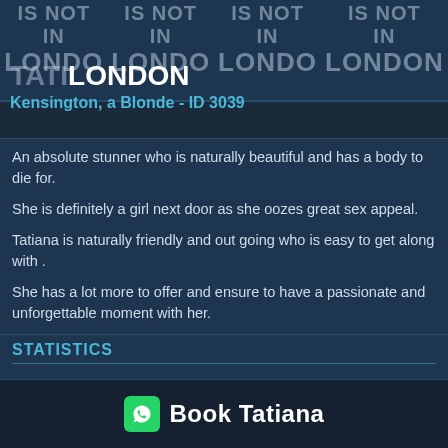[Figure (other): Watermark text overlay with repeated 'IS NOT IN LONDON' text in faded style across the top banner]
Tatiana - Kensington, a Blonde - ID 3039
Kensington, a Blonde - ID 3039
An absolute stunner who is naturally beautiful and has a body to die for.
She is definitely a girl next door as she oozes great sex appeal.
Tatiana is naturally friendly and out going who is easy to get along with .
She has a lot more to offer and ensure to have a passionate and unforgettable moment with her.
STATISTICS
| Field | Value |
| --- | --- |
| Name: | Tatiana |
| Age: | 25 |
| Nationality: | Russian |
| Height: | 5'7 |
Book Tatiana